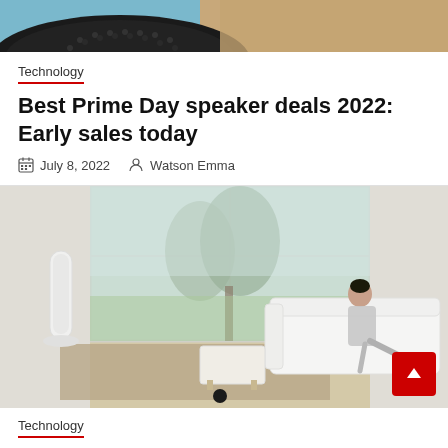[Figure (photo): Top portion of a dark Bluetooth speaker on a blue/teal surface with a sandy/tan surface on the right side — cropped close-up]
Technology
Best Prime Day speaker deals 2022: Early sales today
July 8, 2022   Watson Emma
[Figure (photo): A woman sitting on a white sofa in a bright modern living room with floor-to-ceiling windows showing trees outside. A white tower fan/air purifier stands on the left. A brown rug is on the floor.]
Technology